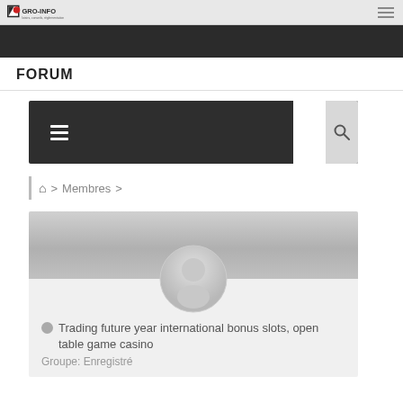GRO-INFO - logo header
FORUM
[Figure (screenshot): Dark navigation bar with hamburger menu icon on the left, white box and search icon on the right]
Membres
[Figure (illustration): User profile card with banner, default avatar silhouette, username text and group info]
Trading future year international bonus slots, open table game casino
Groupe: Enregistré